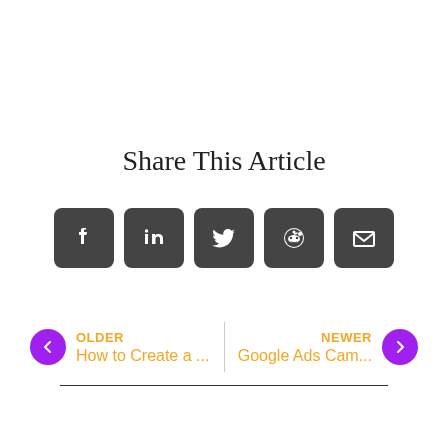Share This Article
[Figure (infographic): Five social media share buttons in dark rounded square icons: Facebook, LinkedIn, Twitter, Reddit, Email]
OLDER
How to Create a ...
NEWER
Google Ads Cam...